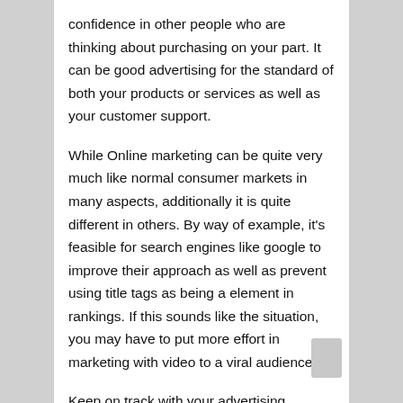confidence in other people who are thinking about purchasing on your part. It can be good advertising for the standard of both your products or services as well as your customer support.
While Online marketing can be quite very much like normal consumer markets in many aspects, additionally it is quite different in others. By way of example, it's feasible for search engines like google to improve their approach as well as prevent using title tags as being a element in rankings. If this sounds like the situation, you may have to put more effort in marketing with video to a viral audience.
Keep on track with your advertising budget. Like many other business expenditures, advertising is subjected to the law of diminishing returns. After having a certain point, further spending provides little benefit. If you do have to enjoy a lot of cash, be sure you're obtaining